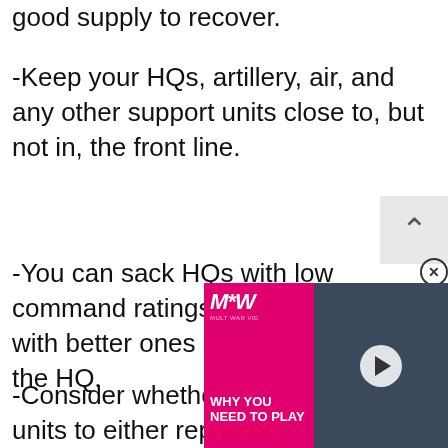good supply to recover.
-Keep your HQs, artillery, air, and any other support units close to, but not in, the front line.
-You can sack HQs with low command ratings and replace them with better ones by right-clicking on the HQ.
-Consider whether you units to either replace
[Figure (screenshot): Video advertisement overlay for 'Evil Dead' game featuring MW logo, play button, and text 'WHY YOU NEED TO PLAY EVIL DEAD' with a character holding a chainsaw in a dark forest]